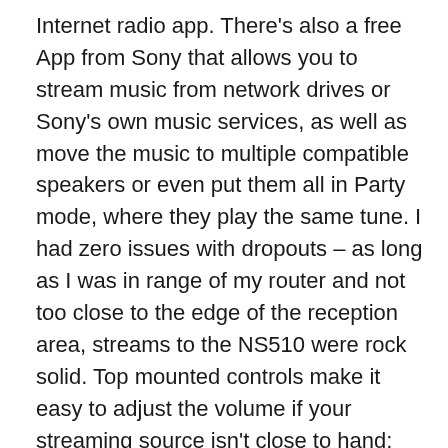Internet radio app. There's also a free App from Sony that allows you to stream music from network drives or Sony's own music services, as well as move the music to multiple compatible speakers or even put them all in Party mode, where they play the same tune. I had zero issues with dropouts – as long as I was in range of my router and not too close to the edge of the reception area, streams to the NS510 were rock solid. Top mounted controls make it easy to adjust the volume if your streaming source isn't close to hand; there are also LEDs to indicate the battery's charge state and the unit's connection to the network.